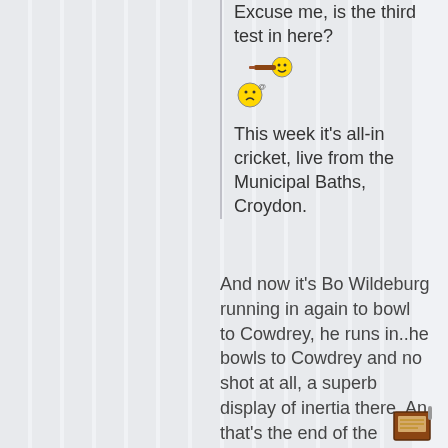Excuse me, is the third test in here?
[Figure (illustration): Pixel art emoji: a cricket bat hitting a smiley face, with a confused face below]
This week it's all-in cricket, live from the Municipal Baths, Croydon.
And now it's Bo Wildeburg running in again to bowl to Cowdrey, he runs in..he bowls to Cowdrey and no shot at all, a superb display of inertia there. An that's the end of the
[Figure (illustration): Pixel art icon at bottom right, appears to be a small device or book with antenna]